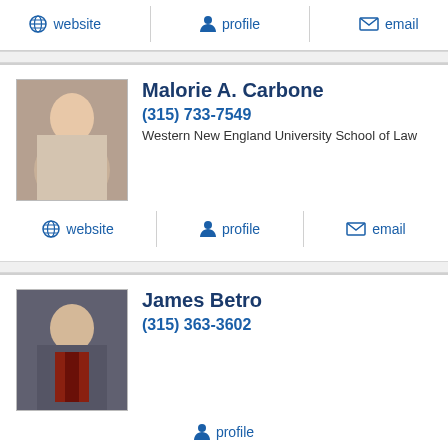website | profile | email
[Figure (photo): Photo of Malorie A. Carbone]
Malorie A. Carbone
(315) 733-7549
Western New England University School of Law
website | profile | email
[Figure (photo): Photo of James Betro]
James Betro
(315) 363-3602
profile
[Figure (photo): Placeholder photo for Andrew D Brockway]
Andrew D Brockway